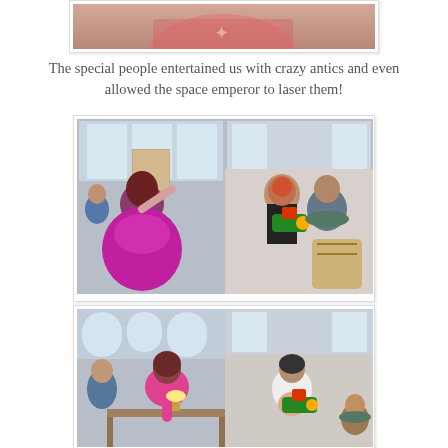[Figure (photo): Partial photo at top of page showing a person in a pink top, cropped.]
The special people entertained us with crazy antics and even allowed the space emperor to laser them!
[Figure (photo): Two side-by-side photos: left shows a woman in a large purple/magenta ball gown with red hair; right shows a child with face paint holding a colorful toy laser gun, with another person seated beside them, in an indoor setting with white walls and arched windows.]
[Figure (photo): Two side-by-side photos: left shows a woman in pink leaning over a table indoors; right shows another child holding a colorful toy laser gun with a small child nearby, in a similar indoor setting.]